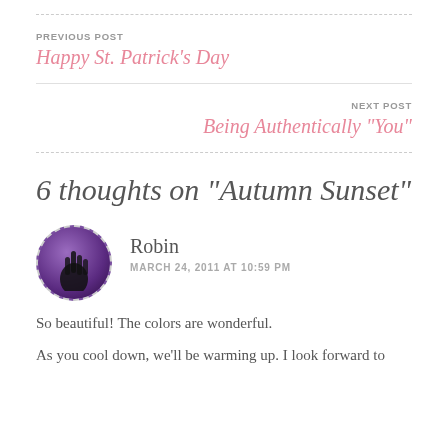PREVIOUS POST
Happy St. Patrick’s Day
NEXT POST
Being Authentically “You”
6 thoughts on “Autumn Sunset”
Robin
MARCH 24, 2011 AT 10:59 PM
So beautiful! The colors are wonderful.
As you cool down, we’ll be warming up. I look forward to